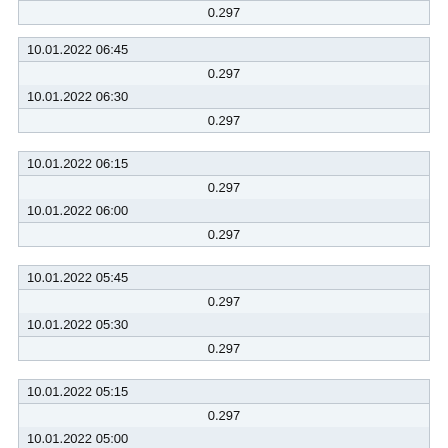| 0.297 |
| 10.01.2022 06:45 |
| 0.297 |
| 10.01.2022 06:30 |
| 0.297 |
| 10.01.2022 06:15 |
| 0.297 |
| 10.01.2022 06:00 |
| 0.297 |
| 10.01.2022 05:45 |
| 0.297 |
| 10.01.2022 05:30 |
| 0.297 |
| 10.01.2022 05:15 |
| 0.297 |
| 10.01.2022 05:00 |